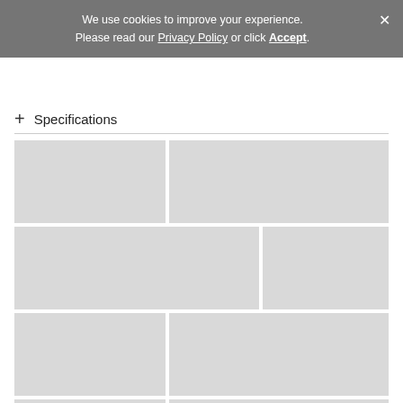We use cookies to improve your experience. Please read our Privacy Policy or click Accept.
+ Specifications
[Figure (screenshot): Grid of six placeholder image tiles in two or three column layouts, all light gray, representing a loading or skeleton state for a product image gallery.]